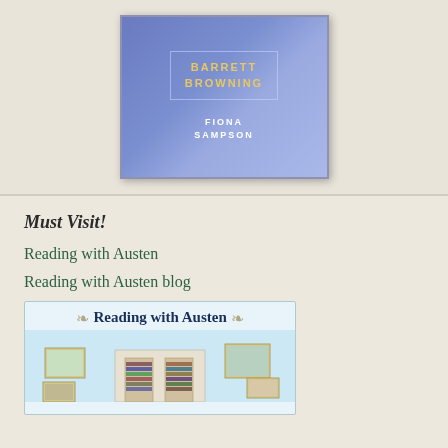[Figure (illustration): Book cover showing 'BARRETT BROWNING' in gold text and 'FIONA SAMPSON' in white text on a blue textured background with an inner border rectangle]
Must Visit!
Reading with Austen
Reading with Austen blog
[Figure (illustration): Reading with Austen banner image showing a cozy reading room scene with bookshelves, framed paintings, and leaf decorations flanking the title text]